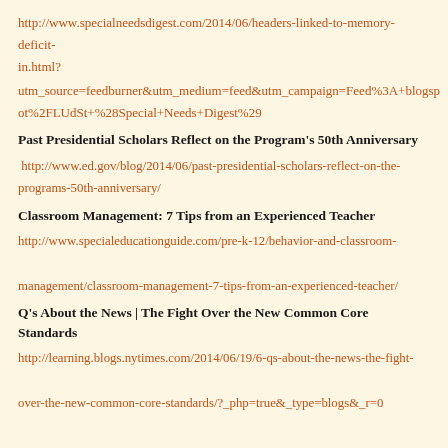http://www.specialneedsdigest.com/2014/06/headers-linked-to-memory-deficit-in.html?
utm_source=feedburner&utm_medium=feed&utm_campaign=Feed%3A+blogspot%2FLUdSt+%28Special+Needs+Digest%29
Past Presidential Scholars Reflect on the Program’s 50th Anniversary
http://www.ed.gov/blog/2014/06/past-presidential-scholars-reflect-on-the-programs-50th-anniversary/
Classroom Management: 7 Tips from an Experienced Teacher
http://www.specialeducationguide.com/pre-k-12/behavior-and-classroom-management/classroom-management-7-tips-from-an-experienced-teacher/
Q’s About the News | The Fight Over the New Common Core Standards
http://learning.blogs.nytimes.com/2014/06/19/6-qs-about-the-news-the-fight-over-the-new-common-core-standards/?_php=true&_type=blogs&_r=0